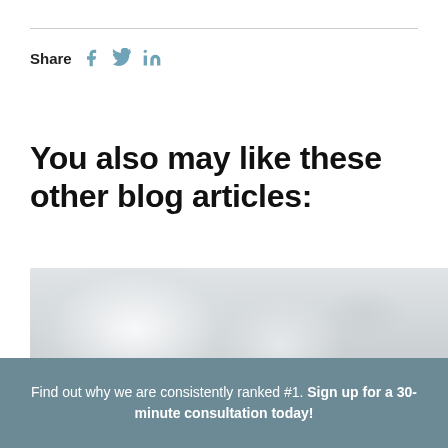Share  f  𝕏  in
You also may like these other blog articles:
[Figure (photo): Blurry photo of white books or binders on shelves, out of focus, light gray and white tones]
Find out why we are consistently ranked #1. Sign up for a 30-minute consultation today!